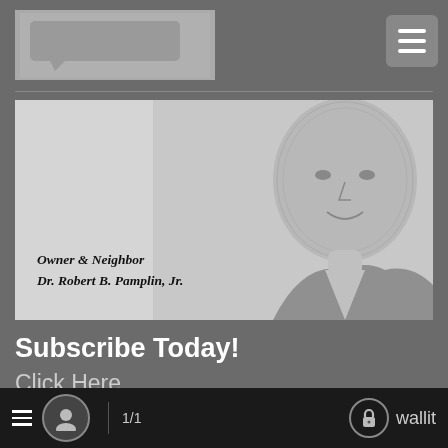[Figure (screenshot): Mobile app screenshot showing a newspaper subscription page with a portrait illustration of Dr. Robert B. Pamplin Jr., subscribe call-to-action, and bottom navigation bar with wallit branding.]
[Figure (illustration): Engraved-style portrait illustration of a smiling bald man (Dr. Robert B. Pamplin Jr.) with text 'Owner & Neighbor / Dr. Robert B. Pamplin, Jr.' overlaid on a light grey advertisement banner.]
Owner & Neighbor
Dr. Robert B. Pamplin, Jr.
Subscribe Today!
Click Here
Advertise with Us
Current Job Openings
1/1    wallit